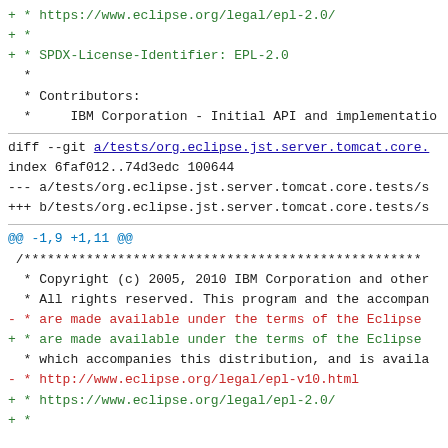+ * https://www.eclipse.org/legal/epl-2.0/
+ *
+ * SPDX-License-Identifier: EPL-2.0
  *
  * Contributors:
  *     IBM Corporation - Initial API and implementation
diff --git a/tests/org.eclipse.jst.server.tomcat.core.
index 6faf012..74d3edc 100644
--- a/tests/org.eclipse.jst.server.tomcat.core.tests/s
+++ b/tests/org.eclipse.jst.server.tomcat.core.tests/s
@@ -1,9 +1,11 @@
 /***************************************************
  * Copyright (c) 2005, 2010 IBM Corporation and other
  * All rights reserved. This program and the accompan
- * are made available under the terms of the Eclipse
+ * are made available under the terms of the Eclipse
  * which accompanies this distribution, and is availa
- * http://www.eclipse.org/legal/epl-v10.html
+ * https://www.eclipse.org/legal/epl-2.0/
+ *